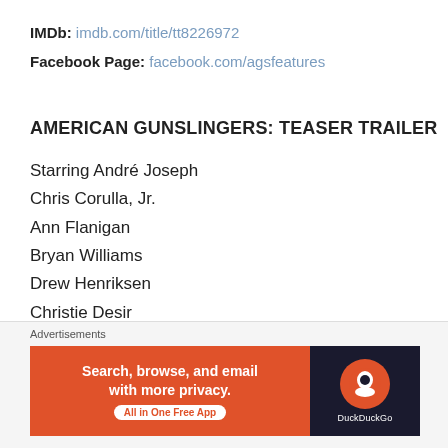IMDb: imdb.com/title/tt8226972
Facebook Page: facebook.com/agsfeatures
AMERICAN GUNSLINGERS: TEASER TRAILER
Starring André Joseph
Chris Corulla, Jr.
Ann Flanigan
Bryan Williams
Drew Henriksen
Christie Desir
Stephanie Hinick
Teel James Glenn
Tony Simonetti
Advertisements
[Figure (other): DuckDuckGo advertisement banner: Search, browse, and email with more privacy. All in One Free App. DuckDuckGo logo on dark background.]